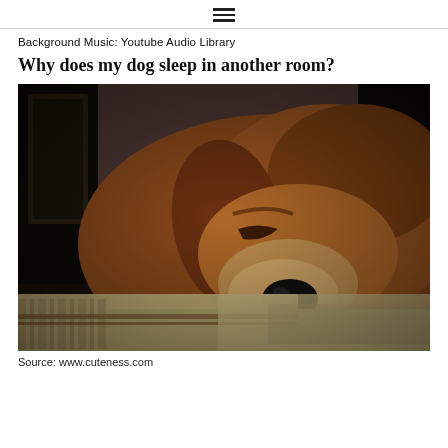☰ (hamburger menu icon)
Background Music: Youtube Audio Library
Why does my dog sleep in another room?
[Figure (photo): A brown beagle dog sleeping on a striped dog bed/cushion, close-up shot with blurred background]
Source: www.cuteness.com